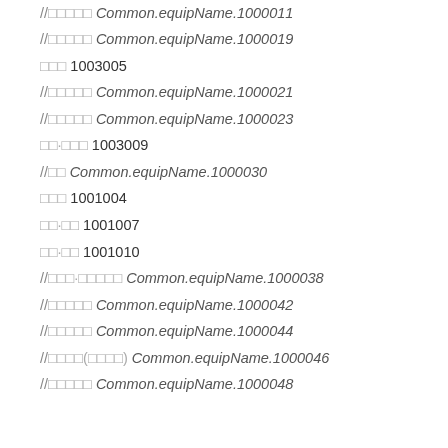//□□□□□ Common.equipName.1000011
//□□□□□ Common.equipName.1000019
□□□ 1003005
//□□□□□ Common.equipName.1000021
//□□□□□ Common.equipName.1000023
□□·□□□ 1003009
//□□ Common.equipName.1000030
□□□ 1001004
□□·□□ 1001007
□□·□□ 1001010
//□□□·□□□□□ Common.equipName.1000038
//□□□□□ Common.equipName.1000042
//□□□□□ Common.equipName.1000044
//□□□□(□□□□) Common.equipName.1000046
//□□□□□ Common.equipName.1000048